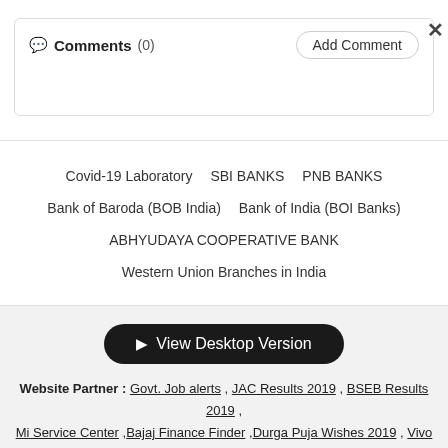Comments (0)   Add Comment  ×
Covid-19 Laboratory   SBI BANKS   PNB BANKS   Bank of Baroda (BOB India)   Bank of India (BOI Banks)   ABHYUDAYA COOPERATIVE BANK   Western Union Branches in India
View Desktop Version
Website Partner : Govt. Job alerts , JAC Results 2019 , BSEB Results 2019 , Mi Service Center , Bajaj Finance Finder , Durga Puja Wishes 2019 , Vivo Service Center